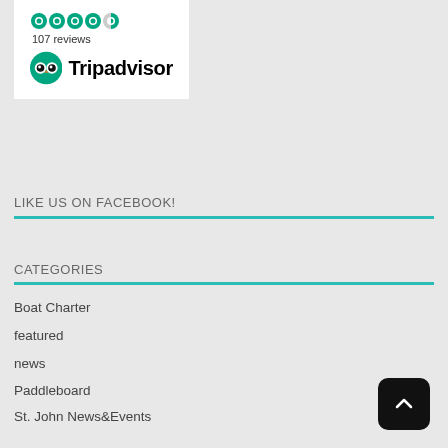[Figure (logo): TripAdvisor widget showing 4.5 green circles rating, 107 reviews, and TripAdvisor logo with owl icon]
LIKE US ON FACEBOOK!
CATEGORIES
Boat Charter
featured
news
Paddleboard
St. John News&Events
SUP
Travel Info
Uncategorized